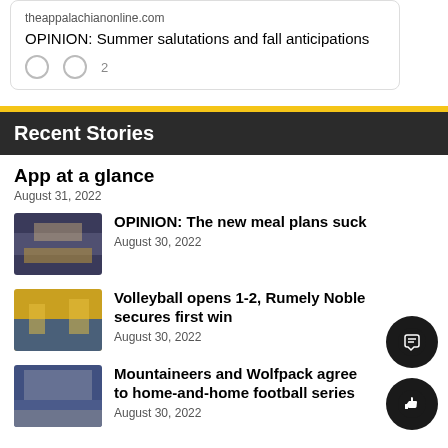theappalachianonline.com
OPINION: Summer salutations and fall anticipations
Recent Stories
App at a glance
August 31, 2022
[Figure (photo): Indoor cafeteria or dining hall scene]
OPINION: The new meal plans suck
August 30, 2022
[Figure (photo): Volleyball players on court with crowd in background]
Volleyball opens 1-2, Rumely Noble secures first win
August 30, 2022
[Figure (photo): Football stadium with crowd and field]
Mountaineers and Wolfpack agree to home-and-home football series
August 30, 2022